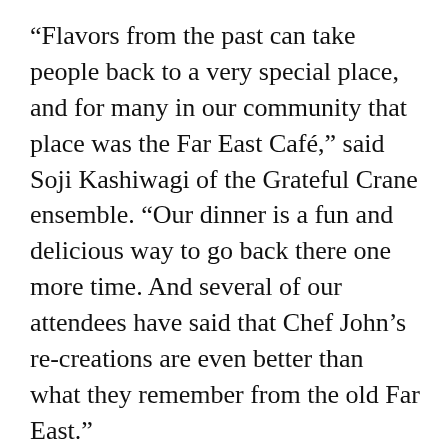“Flavors from the past can take people back to a very special place, and for many in our community that place was the Far East Café,” said Soji Kashiwagi of the Grateful Crane ensemble. “Our dinner is a fun and delicious way to go back there one more time. And several of our attendees have said that Chef John’s re-creations are even better than what they remember from the old Far East.”
But more than just the food, it’s the childhood memories that the food represents that have touched many attendees. “They say that scent is a